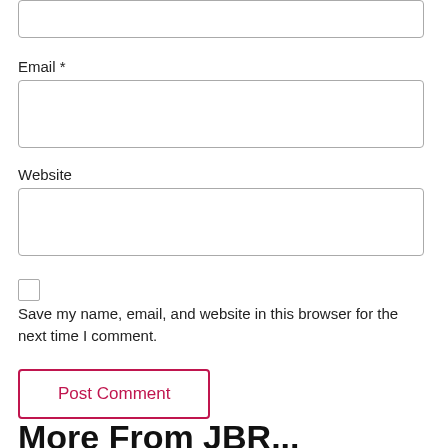[Figure (screenshot): Partial text input field at the top of the page (cropped)]
Email *
[Figure (screenshot): Email input field (empty text box)]
Website
[Figure (screenshot): Website input field (empty text box)]
Save my name, email, and website in this browser for the next time I comment.
Post Comment
More From JBR...
[Figure (screenshot): Send Voicemail button overlay and partial image of sky/clouds at bottom]